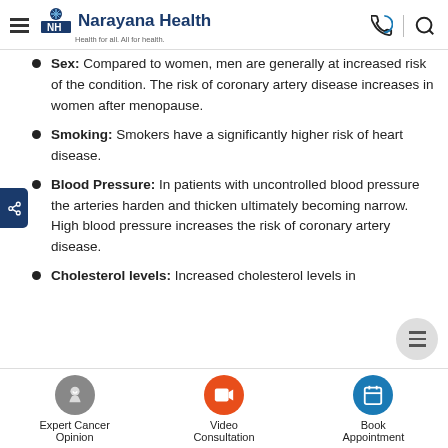Narayana Health — Health for all. All for health.
Sex: Compared to women, men are generally at increased risk of the condition. The risk of coronary artery disease increases in women after menopause.
Smoking: Smokers have a significantly higher risk of heart disease.
Blood Pressure: In patients with uncontrolled blood pressure the arteries harden and thicken ultimately becoming narrow. High blood pressure increases the risk of coronary artery disease.
Cholesterol levels: Increased cholesterol levels in
Expert Cancer Opinion | Video Consultation | Book Appointment